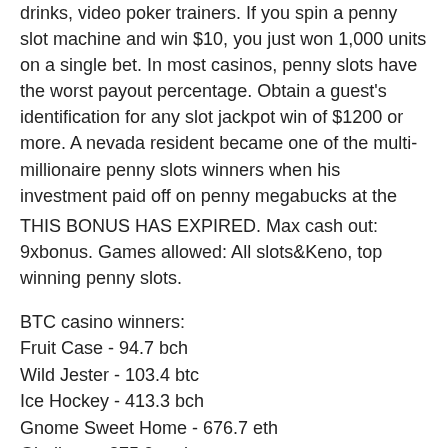drinks, video poker trainers. If you spin a penny slot machine and win $10, you just won 1,000 units on a single bet. In most casinos, penny slots have the worst payout percentage. Obtain a guest's identification for any slot jackpot win of $1200 or more. A nevada resident became one of the multi-millionaire penny slots winners when his investment paid off on penny megabucks at the
THIS BONUS HAS EXPIRED. Max cash out: 9xbonus. Games allowed: All slots&Keno, top winning penny slots.
BTC casino winners:
Fruit Case - 94.7 bch
Wild Jester - 103.4 btc
Ice Hockey - 413.3 bch
Gnome Sweet Home - 676.7 eth
Gladiator - 375.9 usdt
Jack's Beanstalk - 246.6 usdt
Big Kahuna - 597.1 ltc